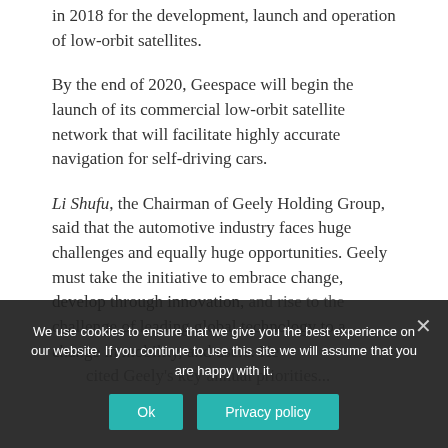in 2018 for the development, launch and operation of low-orbit satellites.
By the end of 2020, Geespace will begin the launch of its commercial low-orbit satellite network that will facilitate highly accurate navigation for self-driving cars.
Li Shufu, the Chairman of Geely Holding Group, said that the automotive industry faces huge challenges and equally huge opportunities. Geely must take the initiative to embrace change, develop through innovation, and rise to the challenge of leading global technology to a dramatic change in mobility, and serve all mobility users. He also cited Geely's key annual priorities...
We use cookies to ensure that we give you the best experience on our website. If you continue to use this site we will assume that you are happy with it.